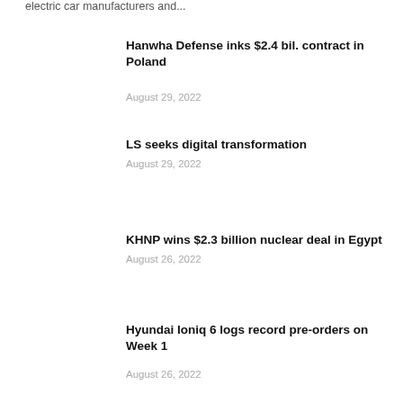electric car manufacturers and...
Hanwha Defense inks $2.4 bil. contract in Poland
August 29, 2022
LS seeks digital transformation
August 29, 2022
KHNP wins $2.3 billion nuclear deal in Egypt
August 26, 2022
Hyundai Ioniq 6 logs record pre-orders on Week 1
August 26, 2022